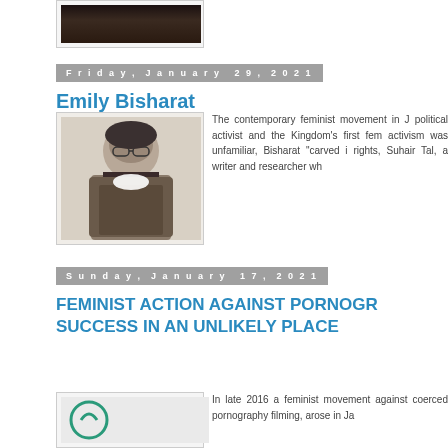[Figure (photo): Partial photo of a person visible at the top, cropped, black and white or dark toned]
Friday, January 29, 2021
Emily Bisharat
[Figure (photo): Black and white photo of Emily Bisharat in judicial/academic robes with a white collar, wearing glasses and a dark head covering]
The contemporary feminist movement in J... political activist and the Kingdom's first fem... activism was unfamiliar, Bisharat "carved i... rights, Suhair Tal, a writer and researcher wh...
Sunday, January 17, 2021
FEMINIST ACTION AGAINST PORNOGR... SUCCESS IN AN UNLIKELY PLACE
[Figure (illustration): Partial illustration or logo visible at the bottom, appears to be a circular design in teal/green color]
In late 2016 a feminist movement against... coerced pornography filming, arose in Ja...